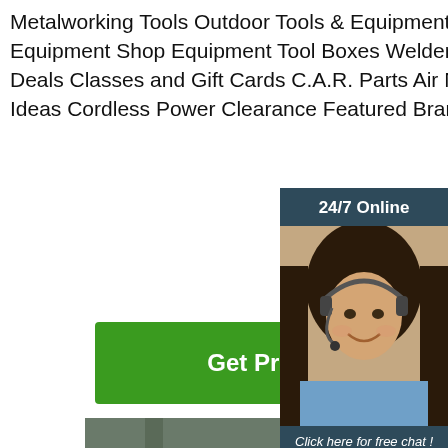Metalworking Tools Outdoor Tools & Equipment Power Tools Safety Equipment Shop Equipment Tool Boxes Welders Woodworking Hot Deals Classes and Gift Cards C.A.R. Parts Air Nailers and Staplers Gift Ideas Cordless Power Clearance Featured Brands Featured Pr
[Figure (other): Customer service agent widget with '24/7 Online' header, photo of woman with headset, 'Click here for free chat!' text, and orange QUOTATION button on dark blue background]
[Figure (photo): Factory/warehouse interior showing workers in yellow hard hats examining blueprints or plans on a table, industrial building with large windows and structural supports]
Get Price